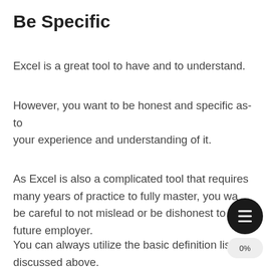Be Specific
Excel is a great tool to have and to understand.
However, you want to be honest and specific as-to your experience and understanding of it.
As Excel is also a complicated tool that requires many years of practice to fully master, you want to be careful to not mislead or be dishonest to a future employer.
You can always utilize the basic definition list we discussed above.